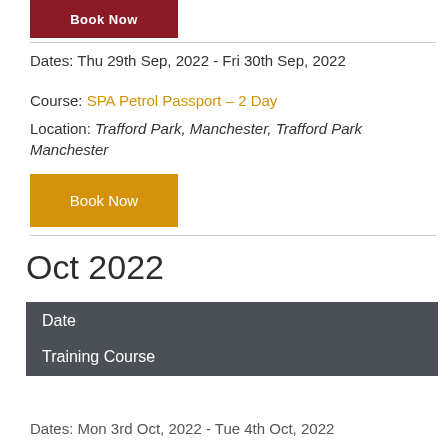[Figure (other): Red Book Now button (partially visible at top)]
Dates: Thu 29th Sep, 2022 - Fri 30th Sep, 2022
Course: SPA Petrol Passport – 2 Day
Location: Trafford Park, Manchester, Trafford Park Manchester
[Figure (other): Gold/amber Book Now button]
Oct 2022
| Date | Training Course |
| --- | --- |
Dates: Mon 3rd Oct, 2022 - Tue 4th Oct, 2022